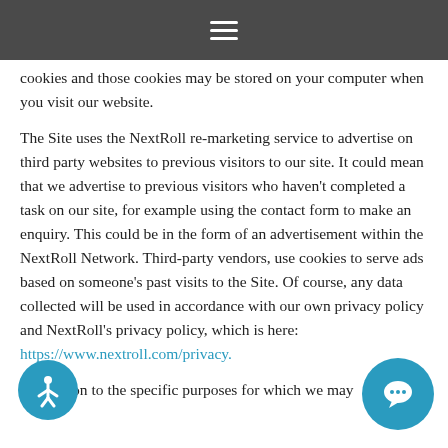☰
cookies and those cookies may be stored on your computer when you visit our website.
The Site uses the NextRoll re-marketing service to advertise on third party websites to previous visitors to our site. It could mean that we advertise to previous visitors who haven't completed a task on our site, for example using the contact form to make an enquiry. This could be in the form of an advertisement within the NextRoll Network. Third-party vendors, use cookies to serve ads based on someone's past visits to the Site. Of course, any data collected will be used in accordance with our own privacy policy and NextRoll's privacy policy, which is here: https://www.nextroll.com/privacy.
In addition to the specific purposes for which we may